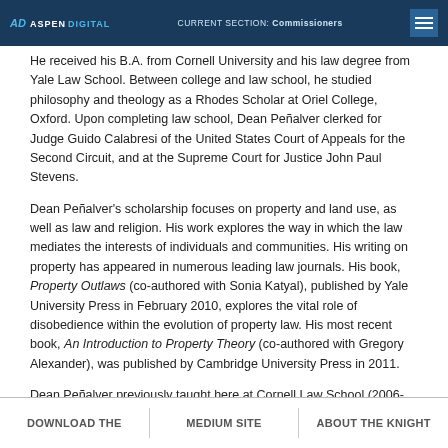AD ASPEN DIGITAL | CURRENT SECTION: Commissioners
He received his B.A. from Cornell University and his law degree from Yale Law School. Between college and law school, he studied philosophy and theology as a Rhodes Scholar at Oriel College, Oxford. Upon completing law school, Dean Peñalver clerked for Judge Guido Calabresi of the United States Court of Appeals for the Second Circuit, and at the Supreme Court for Justice John Paul Stevens.
Dean Peñalver's scholarship focuses on property and land use, as well as law and religion. His work explores the way in which the law mediates the interests of individuals and communities. His writing on property has appeared in numerous leading law journals. His book, Property Outlaws (co-authored with Sonia Katyal), published by Yale University Press in February 2010, explores the vital role of disobedience within the evolution of property law. His most recent book, An Introduction to Property Theory (co-authored with Gregory Alexander), was published by Cambridge University Press in 2011.
Dean Peñalver previously taught here at Cornell Law School (2006-2012) and at Fordham Law School (2003-2006). He has also been a visiting professor at Harvard Law School and Yale Law School.
DOWNLOAD THE | MEDIUM SITE | ABOUT THE KNIGHT